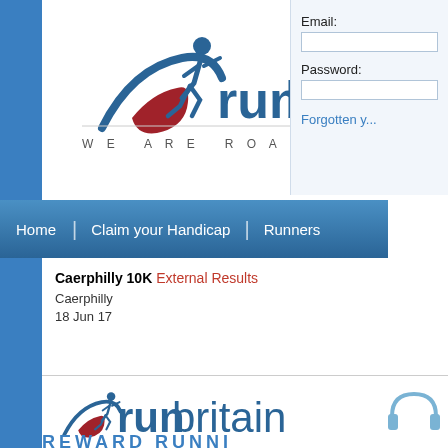[Figure (logo): runbritain logo with runner figure and tagline WE ARE ROAD RUNNING]
Email:
Password:
Forgotten y...
[Figure (screenshot): Navigation bar with Home, Claim your Handicap, Runners menu items]
Caerphilly 10K External Results
Caerphilly
18 Jun 17
[Figure (logo): runbritain reward running logo at bottom of page]